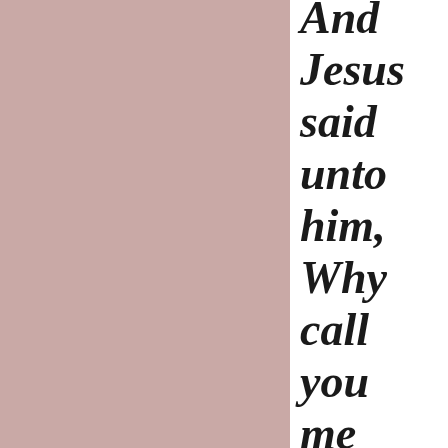[Figure (illustration): Left portion of page filled with a solid dusty rose/mauve color (#c9a9a6)]
And Jesus said unto him, Why call you me good? There is none